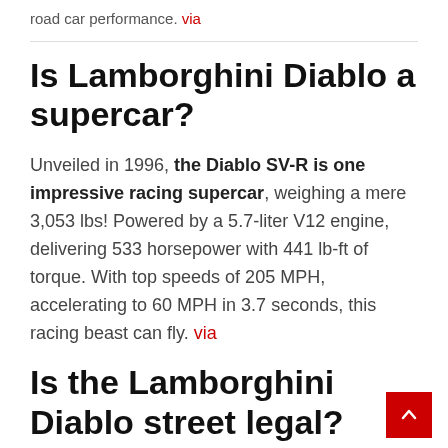road car performance. via
Is Lamborghini Diablo a supercar?
Unveiled in 1996, the Diablo SV-R is one impressive racing supercar, weighing a mere 3,053 lbs! Powered by a 5.7-liter V12 engine, delivering 533 horsepower with 441 lb-ft of torque. With top speeds of 205 MPH, accelerating to 60 MPH in 3.7 seconds, this racing beast can fly. via
Is the Lamborghini Diablo street legal?